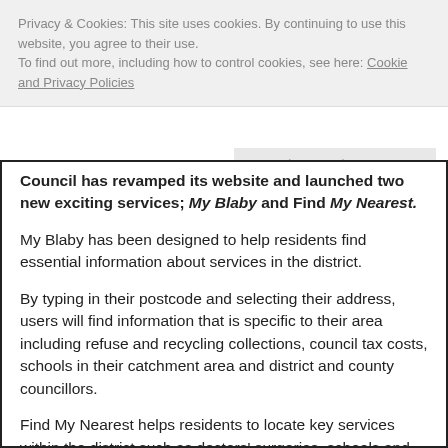Privacy & Cookies: This site uses cookies. By continuing to use this website, you agree to their use.
To find out more, including how to control cookies, see here: Cookie and Privacy Policies
Close and accept
Council has revamped its website and launched two new exciting services; My Blaby and Find My Nearest.
My Blaby has been designed to help residents find essential information about services in the district.
By typing in their postcode and selecting their address, users will find information that is specific to their area including refuse and recycling collections, council tax costs, schools in their catchment area and district and county councillors.
Find My Nearest helps residents to locate key services within the district such as doctors' surgeries, schools and colleges, and post offices.